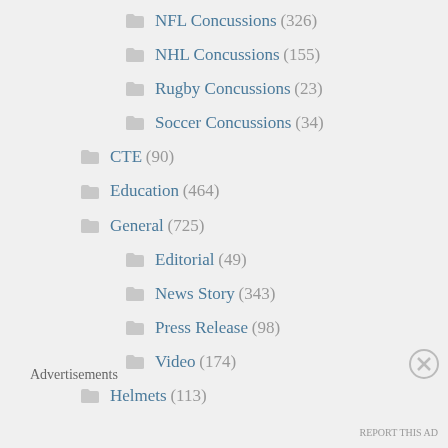NFL Concussions (326)
NHL Concussions (155)
Rugby Concussions (23)
Soccer Concussions (34)
CTE (90)
Education (464)
General (725)
Editorial (49)
News Story (343)
Press Release (98)
Video (174)
Helmets (113)
Advertisements